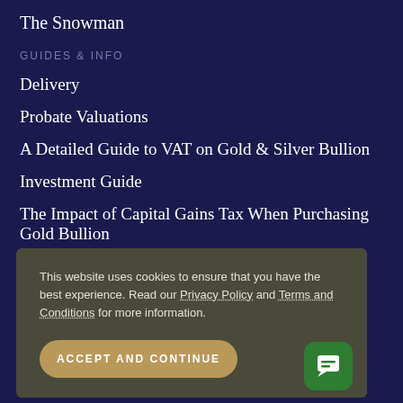The Snowman
GUIDES & INFO
Delivery
Probate Valuations
A Detailed Guide to VAT on Gold & Silver Bullion
Investment Guide
The Impact of Capital Gains Tax When Purchasing Gold Bullion
This website uses cookies to ensure that you have the best experience. Read our Privacy Policy and Terms and Conditions for more information.
ACCEPT AND CONTINUE
Pre-decimal calculator